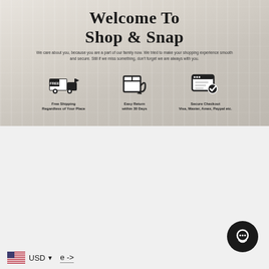[Figure (illustration): Hero banner with wood-grain background showing 'Welcome To Shop & Snap' title, tagline text, and three icons: Free Shipping Regardless of Your Place, Easy Return within 30 Days, Secure Checkout Visa, Master, Amex, Paypal etc.]
A Little About Us
Shop & Snap has expertise in sourcing the trendiest items for everyone all in one place at everyday low prices.